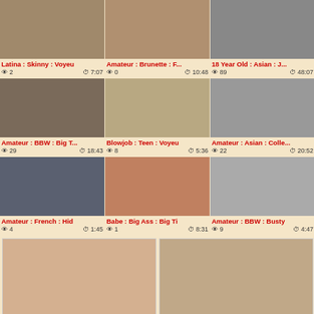[Figure (screenshot): Adult video thumbnail grid with 3 columns, 3 rows of video thumbnails, each with tags and view/duration metadata, plus 2 larger thumbnails at bottom]
Latina : Skinny : Voyeur | 2 views | 7:07
Amateur : Brunette : F... | 0 views | 10:48
18 Year Old : Asian : J... | 89 views | 48:07
Amateur : BBW : Big T... | 29 views | 18:43
Blowjob : Teen : Voyeur | 8 views | 5:36
Amateur : Asian : Colle... | 22 views | 20:52
Amateur : French : Hid... | 4 views | 1:45
Babe : Big Ass : Big Ti... | 1 view | 8:31
Amateur : BBW : Busty... | 9 views | 4:47